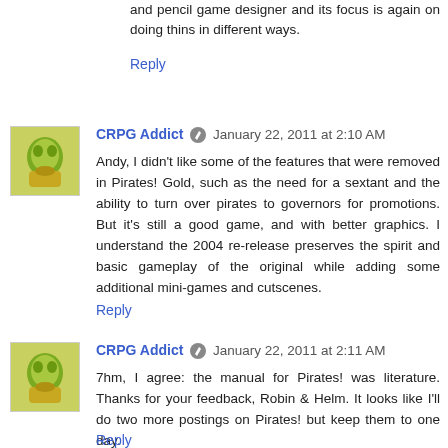and pencil game designer and its focus is again on doing thins in different ways.
Reply
CRPG Addict  January 22, 2011 at 2:10 AM
Andy, I didn't like some of the features that were removed in Pirates! Gold, such as the need for a sextant and the ability to turn over pirates to governors for promotions. But it's still a good game, and with better graphics. I understand the 2004 re-release preserves the spirit and basic gameplay of the original while adding some additional mini-games and cutscenes.
Reply
CRPG Addict  January 22, 2011 at 2:11 AM
7hm, I agree: the manual for Pirates! was literature. Thanks for your feedback, Robin & Helm. It looks like I'll do two more postings on Pirates! but keep them to one day.
Reply